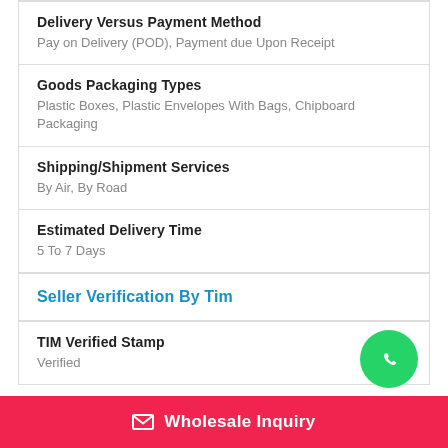| Delivery Versus Payment Method | Pay on Delivery (POD), Payment due Upon Receipt |
| Goods Packaging Types | Plastic Boxes, Plastic Envelopes With Bags, Chipboard Packaging |
| Shipping/Shipment Services | By Air, By Road |
| Estimated Delivery Time | 5 To 7 Days |
Seller Verification By Tim
| TIM Verified Stamp | Verified |
[Figure (logo): WhatsApp icon button (green circle with white phone/chat icon)]
Wholesale Inquiry